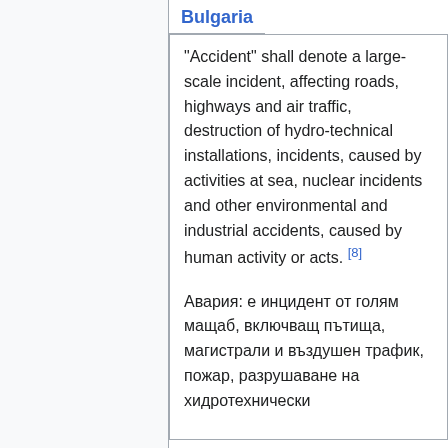Bulgaria
"Accident" shall denote a large-scale incident, affecting roads, highways and air traffic, destruction of hydro-technical installations, incidents, caused by activities at sea, nuclear incidents and other environmental and industrial accidents, caused by human activity or acts. [8]
Авария: е инцидент от голям мащаб, включващ пътища, магистрали и въздушен трафик, пожар, разрушаване на хидротехнически